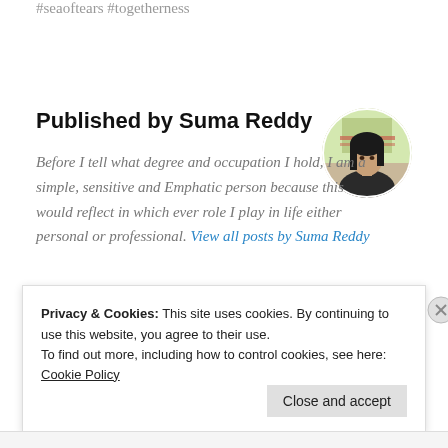#seaoftears #togetherness
Published by Suma Reddy
Before I tell what degree and occupation I hold, I am a simple, sensitive and Emphatic person because this would reflect in which ever role I play in life either personal or professional. View all posts by Suma Reddy
[Figure (photo): Circular profile photo of Suma Reddy, a woman with long dark hair, outdoors with reddish background]
Privacy & Cookies: This site uses cookies. By continuing to use this website, you agree to their use. To find out more, including how to control cookies, see here: Cookie Policy
Close and accept